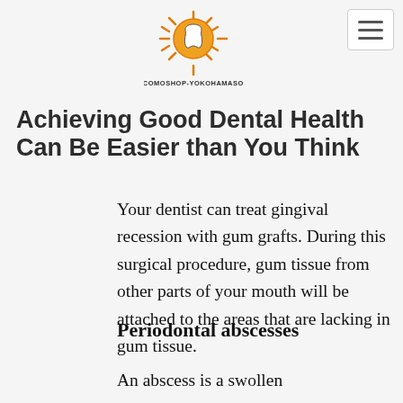[Figure (logo): Dental clinic logo: a tooth icon with sunburst rays in orange, with text DOCOMOSHOP-YOKOHAMASOGO below]
Achieving Good Dental Health Can Be Easier than You Think
Your dentist can treat gingival recession with gum grafts. During this surgical procedure, gum tissue from other parts of your mouth will be attached to the areas that are lacking in gum tissue.
Periodontal abscesses
An abscess is a swollen area that is full of...